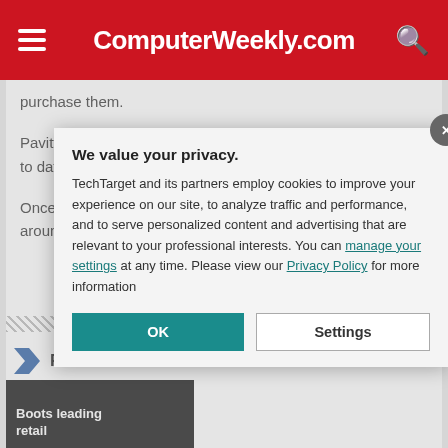ComputerWeekly.com
purchase them.
Pavitt says the Fujitsu implementation “brings Specsavers up to date to build some exciting stuff on top”.
Once the firm ha… opportunity to bu… amount of online… around giving its… possible.
Read mo…
[Figure (screenshot): Boots leading… retail thumbnail image]
We value your privacy. TechTarget and its partners employ cookies to improve your experience on our site, to analyze traffic and performance, and to serve personalized content and advertising that are relevant to your professional interests. You can manage your settings at any time. Please view our Privacy Policy for more information